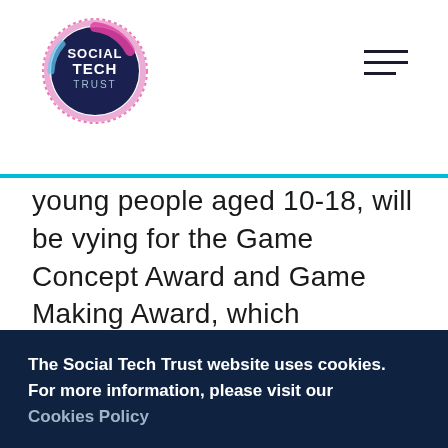Social Tech Trust
young people aged 10-18, will be vying for the Game Concept Award and Game Making Award, which recognise a written game idea, or a game made using computer software respectively. The winners of both strands, in 10-14 and 15-18 age ranges, will receive a host of
The Social Tech Trust website uses cookies. For more information, please visit our Cookies Policy
Hide this message
The young finalists come from across England,